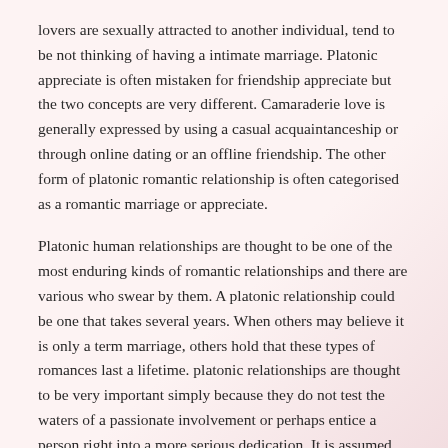lovers are sexually attracted to another individual, tend to be not thinking of having a intimate marriage. Platonic appreciate is often mistaken for friendship appreciate but the two concepts are very different. Camaraderie love is generally expressed by using a casual acquaintanceship or through online dating or an offline friendship. The other form of platonic romantic relationship is often categorised as a romantic marriage or appreciate.
Platonic human relationships are thought to be one of the most enduring kinds of romantic relationships and there are various who swear by them. A platonic relationship could be one that takes several years. When others may believe it is only a term marriage, others hold that these types of romances last a lifetime. platonic relationships are thought to be very important simply because they do not test the waters of a passionate involvement or perhaps entice a person right into a more serious dedication. It is assumed that platonic relationships are the safest associations for